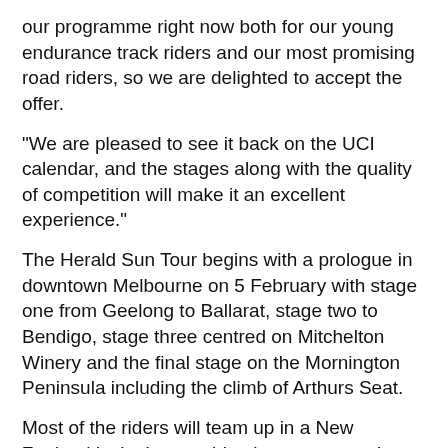our programme right now both for our young endurance track riders and our most promising road riders, so we are delighted to accept the offer.
“We are pleased to see it back on the UCI calendar, and the stages along with the quality of competition will make it an excellent experience.”
The Herald Sun Tour begins with a prologue in downtown Melbourne on 5 February with stage one from Geelong to Ballarat, stage two to Bendigo, stage three centred on Mitchelton Winery and the final stage on the Mornington Peninsula including the climb of Arthurs Seat.
Most of the riders will team up in a New Zealand invitation combination to contest the UCI-sanctioned NZCT Cycle Classic starting in Manawatu this week.
Details: www.bikenz.org.nz